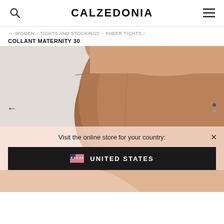CALZEDONIA
← WOMEN > TIGHTS AND STOCKINGS > SHEER TIGHTS >
COLLANT MATERNITY 30
[Figure (photo): Close-up photo of a pregnant woman wearing tan/beige maternity tights (Collant Maternity 30), showing the waistband and thigh area against a light grey background. Navigation arrow on left, two dots on right.]
Visit the online store for your country:
UNITED STATES